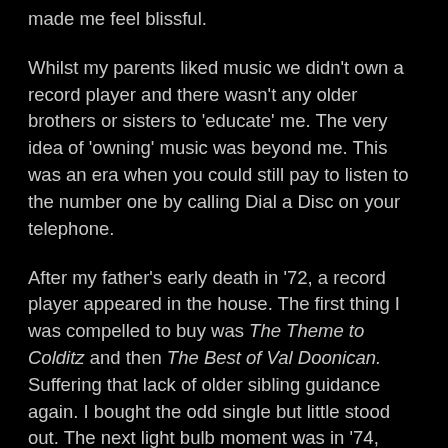made me feel blissful.
Whilst my parents liked music we didn't own a record player and there wasn't any older brothers or sisters to 'educate' me. The very idea of 'owning' music was beyond me. This was an era when you could still pay to listen to the number one by calling Dial a Disc on your telephone.
After my father's early death in '72, a record player appeared in the house. The first thing I was compelled to buy was The Theme to Colditz and then The Best of Val Doonican. Suffering that lack of older sibling guidance again. I bought the odd single but little stood out. The next light bulb moment was in '74, seeing Cozy Powell play Dance with the Devil.